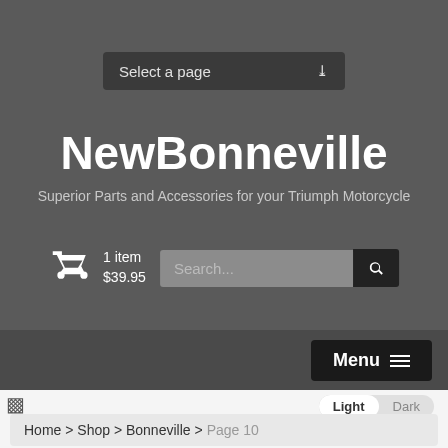Select a page
NewBonneville
Superior Parts and Accessories for your Triumph Motorcycle
1 item $39.95
Search...
Menu
Light Dark
Home > Shop > Bonneville > Page 10